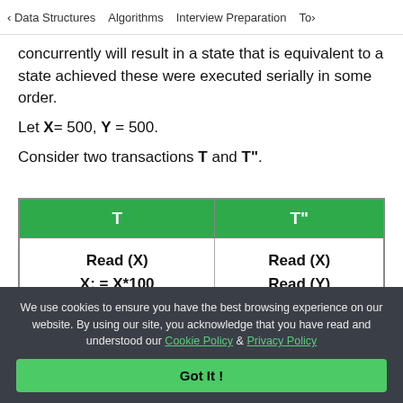< Data Structures   Algorithms   Interview Preparation   Top>
concurrently will result in a state that is equivalent to a state achieved these were executed serially in some order.
Let X = 500, Y = 500.
Consider two transactions T and T".
| T | T" |
| --- | --- |
| Read (X)
X: = X*100 | Read (X)
Read (Y) |
We use cookies to ensure you have the best browsing experience on our website. By using our site, you acknowledge that you have read and understood our Cookie Policy & Privacy Policy
Got It !